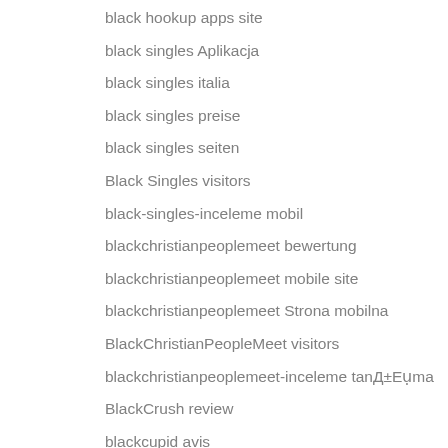black hookup apps site
black singles Aplikacja
black singles italia
black singles preise
black singles seiten
Black Singles visitors
black-singles-inceleme mobil
blackchristianpeoplemeet bewertung
blackchristianpeoplemeet mobile site
blackchristianpeoplemeet Strona mobilna
BlackChristianPeopleMeet visitors
blackchristianpeoplemeet-inceleme tanД±Eụma
BlackCrush review
blackcupid avis
blackcupid gratis